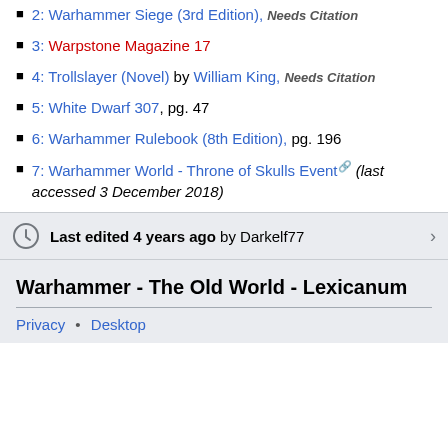2: Warhammer Siege (3rd Edition), Needs Citation
3: Warpstone Magazine 17
4: Trollslayer (Novel) by William King, Needs Citation
5: White Dwarf 307, pg. 47
6: Warhammer Rulebook (8th Edition), pg. 196
7: Warhammer World - Throne of Skulls Event [external link] (last accessed 3 December 2018)
Last edited 4 years ago by Darkelf77
Warhammer - The Old World - Lexicanum
Privacy • Desktop